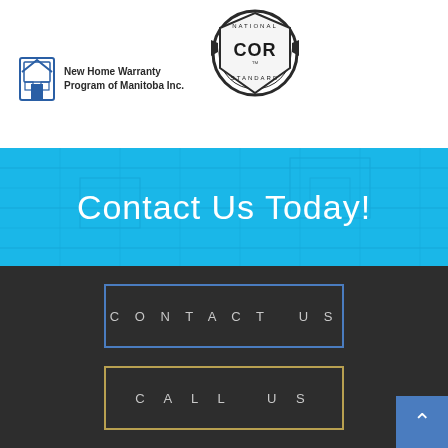[Figure (logo): New Home Warranty Program of Manitoba Inc. logo with house icon]
[Figure (logo): National COR Standard certification badge/seal]
Contact Us Today!
CONTACT US
CALL US